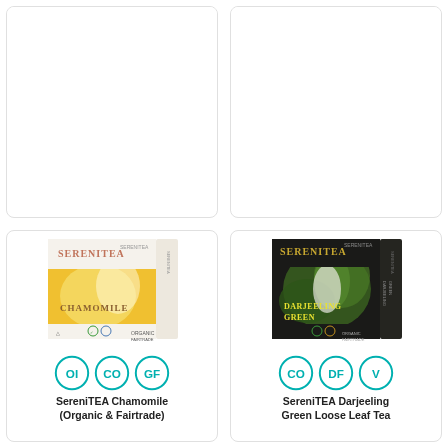[Figure (photo): Top-left product card, mostly blank/white (product image cut off at top)]
[Figure (photo): Top-right product card, mostly blank/white (product image cut off at top)]
[Figure (photo): SereniTEA Chamomile tea box - yellow and white packaging with organic and fairtrade logos]
OI CO GF
SereniTEA Chamomile (Organic & Fairtrade)
[Figure (photo): SereniTEA Darjeeling Green tea box - dark/black packaging with green leaves and fairtrade logos]
CO DF V
SereniTEA Darjeeling Green Loose Leaf Tea